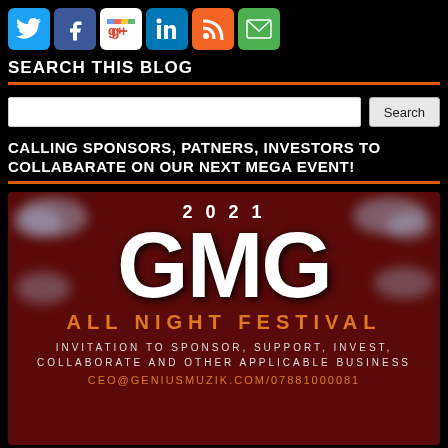[Figure (illustration): Social media icon buttons: Twitter (blue), Facebook (dark blue), Google+ (multicolor), LinkedIn (blue), RSS (orange), Email (green)]
SEARCH THIS BLOG
[Figure (screenshot): Search input box with white background and a 'Search' button on the right]
CALLING SPONSORS, PATNERS, INVESTORS TO COLLABARATE ON OUR NEXT MEGA EVENT!
[Figure (illustration): 2021 GMG All Night Festival promotional image on dark red background with clouds, large GMG text, orange 'ALL NIGHT FESTIVAL' subtitle, and invitation text: 'INVITATION TO SPONSOR, SUPPORT, INVEST, COLLABORATE AND OTHER APPLICABLE BUSINESS' and contact ceo@geniusmuzik.com/07881000081]